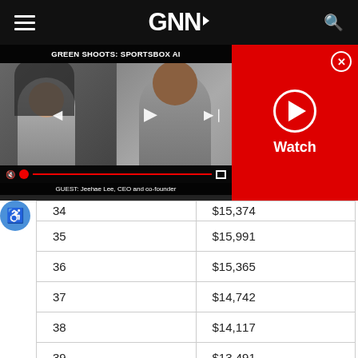GNN (navigation bar with hamburger menu and search icon)
[Figure (screenshot): Video player showing 'GREEN SHOOTS: SPORTSBOX AI' with two video frames, controls, and guest label 'GUEST: Jeehae Lee, CEO and co-founder']
[Figure (screenshot): Red 'Watch' panel with play button circle and close X button]
|  |  |
| --- | --- |
| 34 | $15,374 |
| 35 | $15,991 |
| 36 | $15,365 |
| 37 | $14,742 |
| 38 | $14,117 |
| 39 | $13,491 |